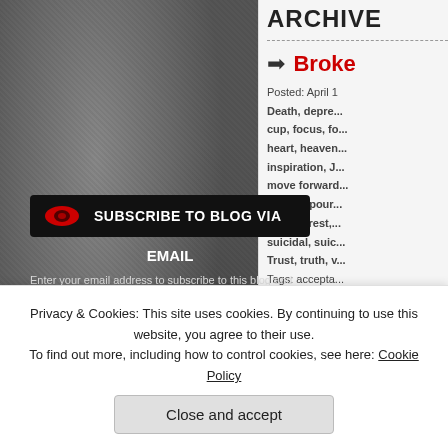ARCHIVE
Broke
Posted: April 1
Death, depre...
cup, focus, fo...
heart, heaven...
inspiration, J...
move forward...
Poems, pour...
rescue, rest,...
suicidal, suic...
Trust, truth, v...
Tags: accepta...
counsel, curs...
forgiveness,...
SUBSCRIBE TO BLOG VIA EMAIL
Enter your email address to subscribe to this blog and receive notifications of new posts by email.
Enter your email address
Subscribe
Join 131 other followers
abuse  broken heart  compassion
depression
Privacy & Cookies: This site uses cookies. By continuing to use this website, you agree to their use.
To find out more, including how to control cookies, see here: Cookie Policy
Close and accept